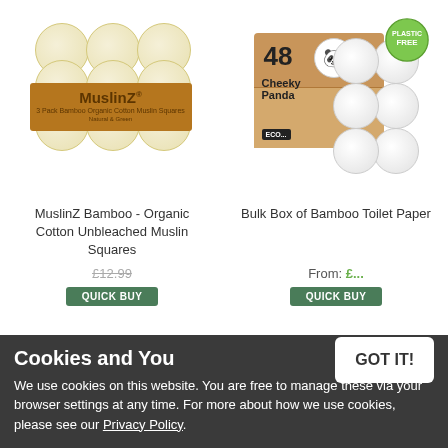[Figure (photo): MuslinZ Bamboo organic cotton unbleached muslin squares product wrapped in brown/orange band]
[Figure (photo): Bulk Box of Bamboo Toilet Paper from Cheeky Panda, showing a cardboard box labeled 48 with Cheeky Panda branding and toilet rolls, with a Plastic Free badge]
MuslinZ Bamboo - Organic Cotton Unbleached Muslin Squares
Bulk Box of Bamboo Toilet Paper
From: £
QUICK BUY
QUICK BUY
Cookies and You
We use cookies on this website. You are free to manage these via your browser settings at any time. For more about how we use cookies, please see our Privacy Policy.
GOT IT!